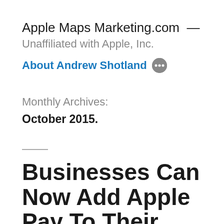Apple Maps Marketing.com — Unaffiliated with Apple, Inc.
About Andrew Shotland ···
Monthly Archives:
October 2015.
Businesses Can Now Add Apple Pay To Their Apple MapsConnect